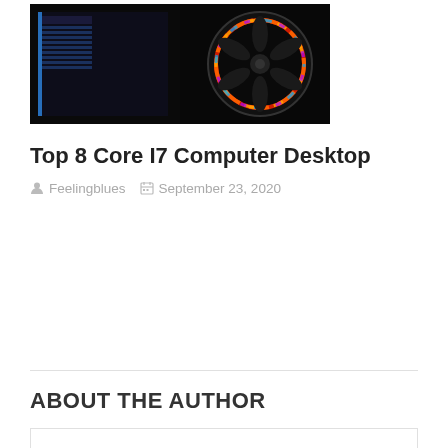[Figure (photo): A gaming PC desktop computer with RGB lighting fans, showing internal components, dark background]
Top 8 Core I7 Computer Desktop
Feelingblues   September 23, 2020
ABOUT THE AUTHOR